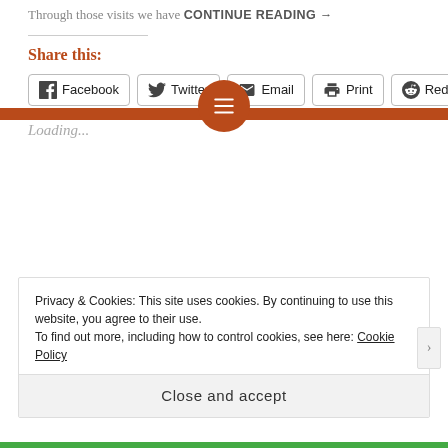Through those visits we have CONTINUE READING →
Share this:
Facebook  Twitter  Email  Print  Reddit
Loading...
[Figure (infographic): Brown horizontal bar with a circular brown icon button in the center containing a text/lines symbol (hamburger menu style)]
Privacy & Cookies: This site uses cookies. By continuing to use this website, you agree to their use.
To find out more, including how to control cookies, see here: Cookie Policy
Close and accept